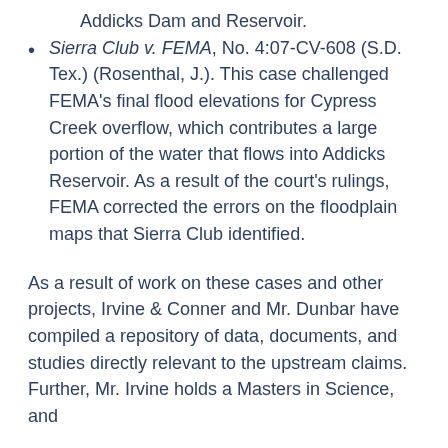Addicks Dam and Reservoir.
Sierra Club v. FEMA, No. 4:07-CV-608 (S.D. Tex.) (Rosenthal, J.). This case challenged FEMA's final flood elevations for Cypress Creek overflow, which contributes a large portion of the water that flows into Addicks Reservoir. As a result of the court's rulings, FEMA corrected the errors on the floodplain maps that Sierra Club identified.
As a result of work on these cases and other projects, Irvine & Conner and Mr. Dunbar have compiled a repository of data, documents, and studies directly relevant to the upstream claims. Further, Mr. Irvine holds a Masters in Science, and